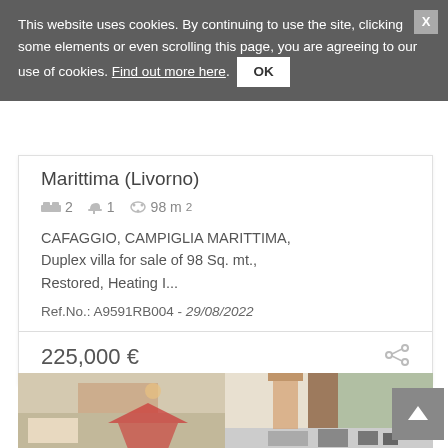This website uses cookies. By continuing to use the site, clicking some elements or even scrolling this page, you are agreeing to our use of cookies. Find out more here. OK
Marittima (Livorno)
2 bedrooms, 1 bathroom, 98 m²
CAFAGGIO, CAMPIGLIA MARITTIMA, Duplex villa for sale of 98 Sq. mt., Restored, Heating I...
Ref.No.: A9591RB004 - 29/08/2022
225,000 €
[Figure (photo): Interior photo of a living room and kitchen of a property listing]